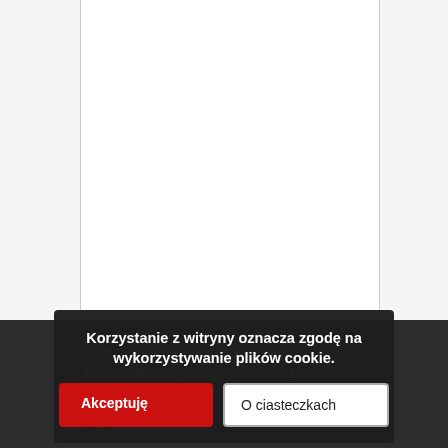[Figure (other): White content area with vertical borders, representing a webpage product listing area (mostly blank/image area)]
AUDI A3 Sportback 5-drzwi HAK HOLOWNICZY (2004-do 06.2008r.) Kula przykr...
595,00 ...
Korzystanie z witryny oznacza zgodę na wykorzystywanie plików cookie.
Akceptuję
O ciasteczkach